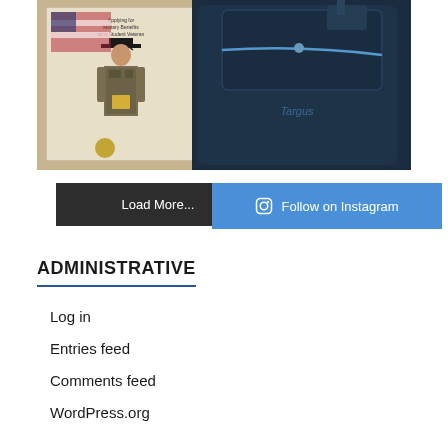[Figure (photo): Instagram photo collage showing a military graduate in cap and gown with tactical vest holding a certificate in front of an American flag, next to a Targus backpack on a wooden surface]
Load More...
Follow on Instagram
ADMINISTRATIVE
Log in
Entries feed
Comments feed
WordPress.org